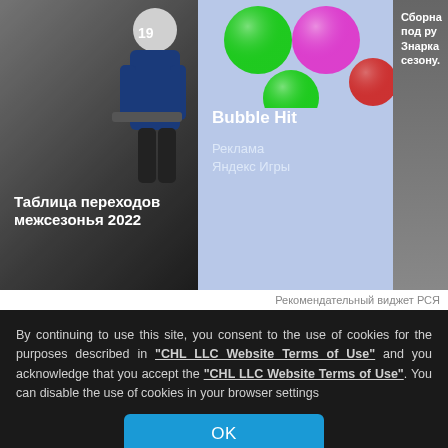[Figure (screenshot): Hockey player card with text 'Таблица переходов межсезонья 2022']
Таблица переходов межсезонья 2022
[Figure (screenshot): Bubble Hit game ad with colored bubbles, Реклама Яндекс Игры]
Bubble Hit
Реклама
Яндекс Игры
[Figure (screenshot): Partial card on right side with text starting 'Сборна под ру Знарка сезону']
Рекомендательный виджет РСЯ
[Figure (screenshot): Ad banner with red background, clipboard showing 365, and three-dot menu button]
By continuing to use this site, you consent to the use of cookies for the purposes described in "CHL LLC Website Terms of Use" and you acknowledge that you accept the "CHL LLC Website Terms of Use". You can disable the use of cookies in your browser settings
OK